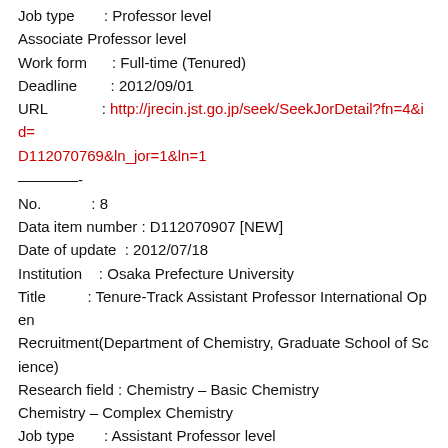Job type       : Professor level
Associate Professor level
Work form       : Full-time (Tenured)
Deadline         : 2012/09/01
URL              : http://jrecin.jst.go.jp/seek/SeekJorDetail?fn=4&id=D112070769&ln_jor=1&ln=1
————-
No.              : 8
Data item number : D112070907 [NEW]
Date of update   : 2012/07/18
Institution      : Osaka Prefecture University
Title            : Tenure-Track Assistant Professor International Open Recruitment(Department of Chemistry, Graduate School of Science)
Research field   : Chemistry – Basic Chemistry
Chemistry – Complex Chemistry
Job type         : Assistant Professor level
Work form        : Full-time (Nontenured)
Deadline         : 2012/10/26
URL              : http://jrecin.jst.go.jp/seek/SeekJorDetail?fn=4&id=